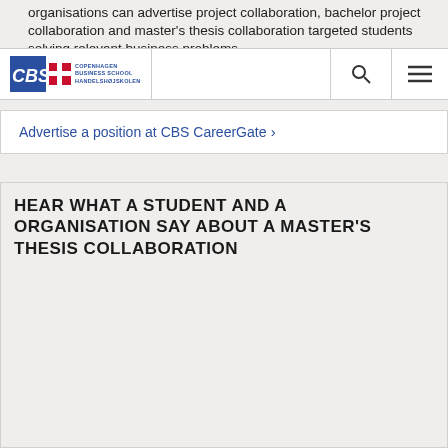organisations can advertise project collaboration, bachelor project collaboration and master's thesis collaboration targeted students solving relevant business problems.
CBS Copenhagen Business School HANDELSHØJSKOLEN
Advertise a position at CBS CareerGate ›
HEAR WHAT A STUDENT AND A ORGANISATION SAY ABOUT A MASTER'S THESIS COLLABORATION